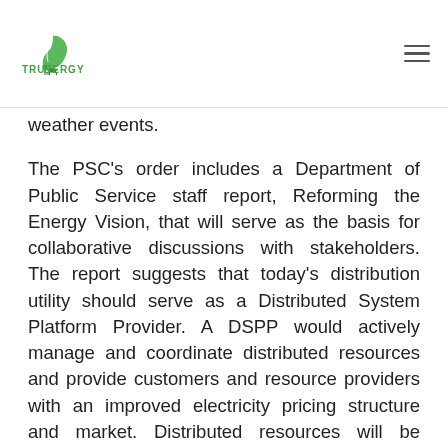TRUENERGY
weather events.
The PSC's order includes a Department of Public Service staff report, Reforming the Energy Vision, that will serve as the basis for collaborative discussions with stakeholders. The report suggests that today's distribution utility should serve as a Distributed System Platform Provider. A DSPP would actively manage and coordinate distributed resources and provide customers and resource providers with an improved electricity pricing structure and market. Distributed resources will be reevaluated to determine how demand management can be used not as a last resort but rather as a primary tool, and distributed grid